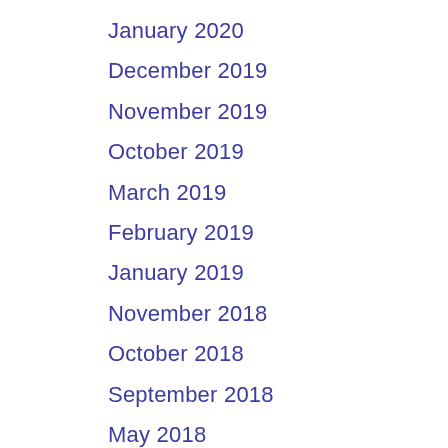January 2020
December 2019
November 2019
October 2019
March 2019
February 2019
January 2019
November 2018
October 2018
September 2018
May 2018
April 2018
March 2018